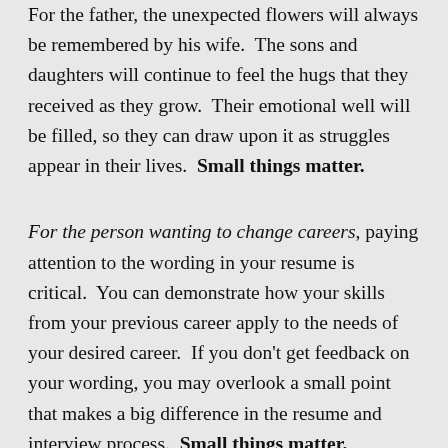For the father, the unexpected flowers will always be remembered by his wife.  The sons and daughters will continue to feel the hugs that they received as they grow.  Their emotional well will be filled, so they can draw upon it as struggles appear in their lives.  Small things matter.
For the person wanting to change careers, paying attention to the wording in your resume is critical.  You can demonstrate how your skills from your previous career apply to the needs of your desired career.  If you don't get feedback on your wording, you may overlook a small point that makes a big difference in the resume and interview process.  Small things matter.